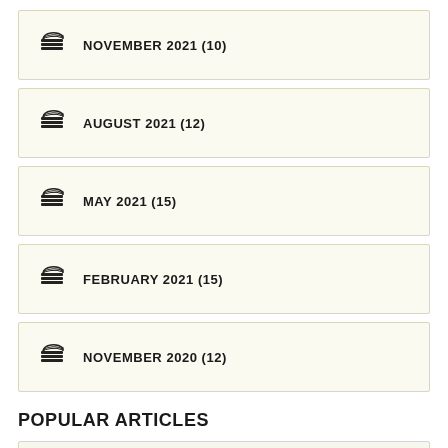NOVEMBER 2021 (10)
AUGUST 2021 (12)
MAY 2021 (15)
FEBRUARY 2021 (15)
NOVEMBER 2020 (12)
POPULAR ARTICLES
Pharmaceutical Aids – a Review Study
Comparative Use of Acidifiers, Antacids and…